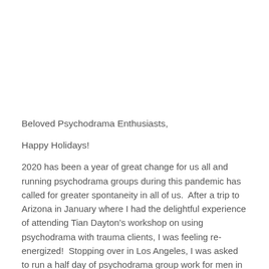Beloved Psychodrama Enthusiasts,
Happy Holidays!
2020 has been a year of great change for us all and running psychodrama groups during this pandemic has called for greater spontaneity in all of us.  After a trip to Arizona in January where I had the delightful experience of attending Tian Dayton’s workshop on using psychodrama with trauma clients, I was feeling re-energized!  Stopping over in Los Angeles, I was asked to run a half day of psychodrama group work for men in recovery from sex addiction. This was an amazing time in which I saw the method working and followed the momentum of the...